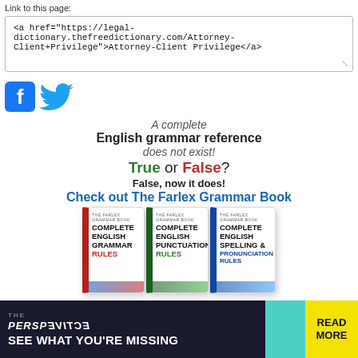Link to this page:
<a href="https://legal-dictionary.thefreedictionary.com/Attorney-Client+Privilege">Attorney-Client Privilege</a>
[Figure (logo): Facebook and Twitter social media icons]
A complete
English grammar reference
does not exist!
True or False?
False, now it does!
Check out The Farlex Grammar Book
[Figure (photo): Three books: Complete English Grammar Rules, Complete English Punctuation Rules, Complete English Spelling & Pronunciation Rules]
[Figure (infographic): Advertisement banner: THE PERSPECTIVE - SEE WHAT YOU'RE MISSING - READ MORE]